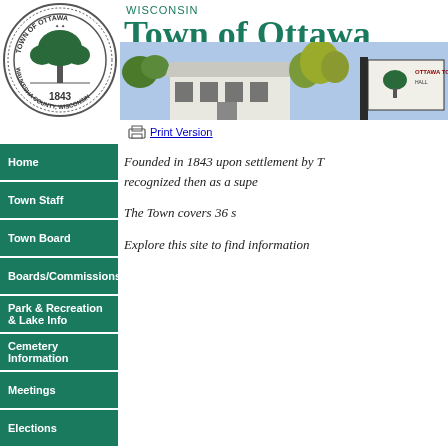[Figure (logo): Town of Ottawa seal - circular seal showing a tree, established 1843, Waukesha County Wisconsin]
[Figure (photo): Wisconsin Town of Ottawa banner with title text and photo of town hall building and Ottawa Town sign]
Print Version
Home
Town Staff
Town Board
Boards/Commissions
Park & Recreation & Lake Info
Cemetery Information
Meetings
Elections
Ordinances
Dog Licensing
Recycling/Garbage Disposal
Founded in 1843 upon settlement by T... recognized then as a supe...
The Town covers 36 s...
Explore this site to find information...